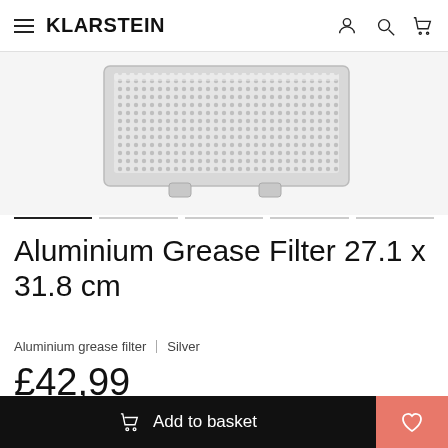KLARSTEIN
[Figure (photo): Aluminium grease filter product photo showing a rectangular silver mesh filter with a perforated aluminum surface and small plastic clips at the bottom]
Aluminium Grease Filter 27.1 x 31.8 cm
Aluminium grease filter   Silver
£42,99
(incl. VAT)
Add to basket